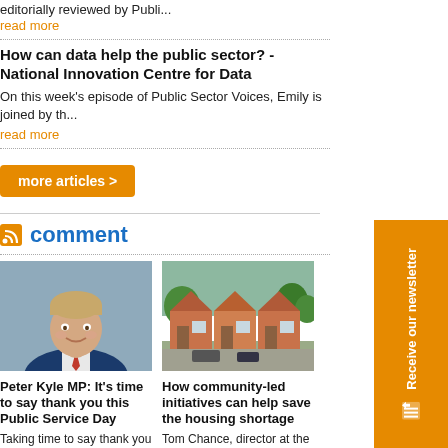editorially reviewed by Publi...
read more
How can data help the public sector? - National Innovation Centre for Data
On this week's episode of Public Sector Voices, Emily is joined by th...
read more
more articles >
comment
[Figure (photo): Headshot of Peter Kyle MP, a man in a suit smiling]
Peter Kyle MP: It's time to say thank you this Public Service Day
Taking time to say thank you is one of the hidden pillars of a society. Bei...
[Figure (photo): Photograph of a row of red-brick terraced houses with cars parked in front]
How community-led initiatives can help save the housing shortage
Tom Chance, director at the National Community Land Trust Network